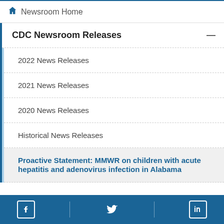Newsroom Home
CDC Newsroom Releases
2022 News Releases
2021 News Releases
2020 News Releases
Historical News Releases
Proactive Statement: MMWR on children with acute hepatitis and adenovirus infection in Alabama
Facebook | Twitter | LinkedIn